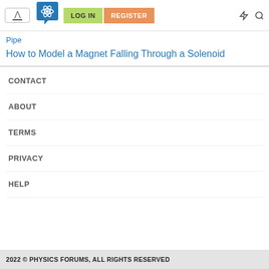LOG IN | REGISTER
Pipe
How to Model a Magnet Falling Through a Solenoid
CONTACT
ABOUT
TERMS
PRIVACY
HELP
2022 © PHYSICS FORUMS, ALL RIGHTS RESERVED